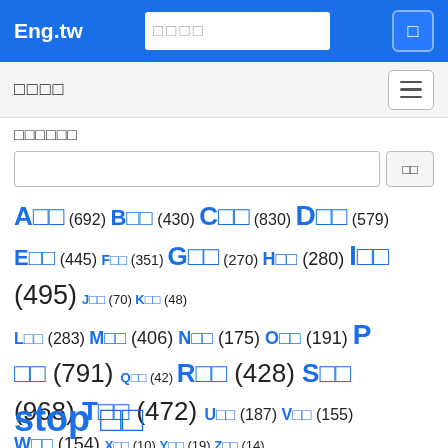Eng.tw
□□□□
□□□□□□
□□
A□□ (692) B□□ (430) C□□ (830) D□□ (579) E□□ (445) F□□ (351) G□□ (270) H□□ (280) I□□ (495) J□□ (70) K□□ (48) L□□ (283) M□□ (406) N□□ (175) O□□ (191) P□□ (791) Q□□ (42) R□□ (428) S□□ (968) T□□ (472) U□□ (187) V□□ (155) W□□ (154) X□□ (10) Y□□ (19) Z□□ (14)
stop □□